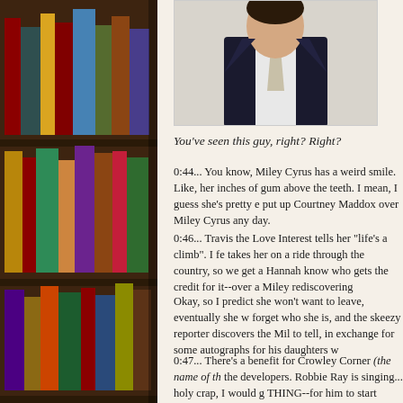[Figure (photo): Photo of a man in a dark suit with a light tie, cropped at upper body, visible from chest up]
You've seen this guy, right? Right?
0:44... You know, Miley Cyrus has a weird smile. Like, her inches of gum above the teeth. I mean, I guess she's pretty e put up Courtney Maddox over Miley Cyrus any day.
0:46... Travis the Love Interest tells her "life's a climb". I fe takes her on a ride through the country, so we get a Hannah know who gets the credit for it--over a Miley rediscovering
Okay, so I predict she won't want to leave, eventually she w forget who she is, and the skeezy reporter discovers the Mil to tell, in exchange for some autographs for his daughters w
0:47... There's a benefit for Crowley Corner (the name of th the developers. Robbie Ray is singing... holy crap, I would g THING--for him to start singing, "You can tell the world yo burn my clothes when I'm gone..."